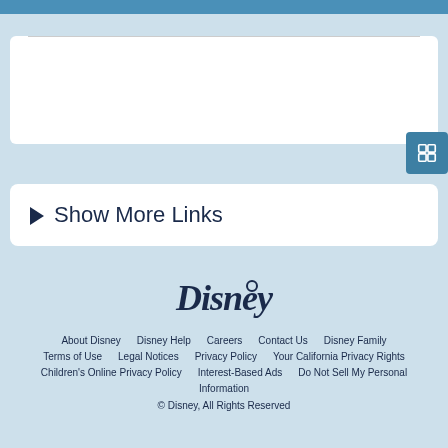Show More Links
[Figure (logo): Disney logo in cursive script]
About Disney | Disney Help | Careers | Contact Us | Disney Family | Terms of Use | Legal Notices | Privacy Policy | Your California Privacy Rights | Children's Online Privacy Policy | Interest-Based Ads | Do Not Sell My Personal Information | © Disney, All Rights Reserved